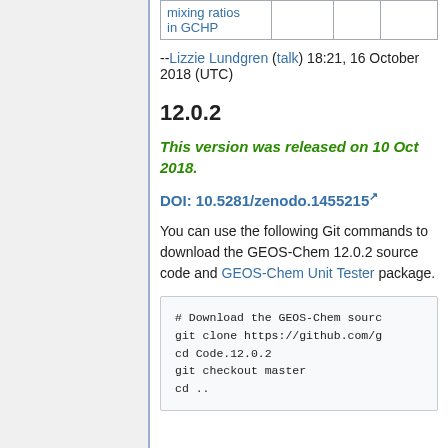| mixing ratios in GCHP |  |  |  |
| --- | --- | --- | --- |
| mixing ratios
in GCHP |  |  |  |
--Lizzie Lundgren (talk) 18:21, 16 October 2018 (UTC)
12.0.2
This version was released on 10 Oct 2018.
DOI: 10.5281/zenodo.1455215
You can use the following Git commands to download the GEOS-Chem 12.0.2 source code and GEOS-Chem Unit Tester package.
# Download the GEOS-Chem sourc...
git clone https://github.com/g...
cd Code.12.0.2
git checkout master
cd ..